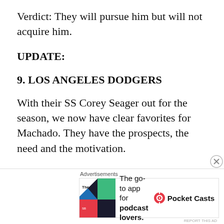Verdict: They will pursue him but will not acquire him.
UPDATE:
9. LOS ANGELES DODGERS
With their SS Corey Seager out for the season, we now have clear favorites for Machado. They have the prospects, the need and the motivation.
[Figure (other): Advertisement banner for Pocket Casts app: 'The go-to app for podcast lovers.' with Pocket Casts logo]
Advertisements